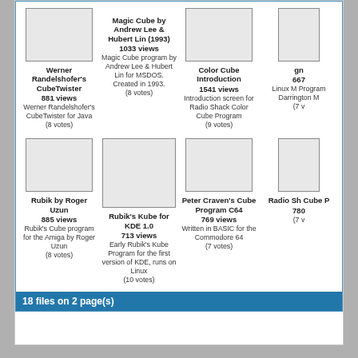[Figure (screenshot): Gallery page showing Rubik's Cube software thumbnails with titles, view counts, descriptions, and vote counts]
Werner Randelshofer's CubeTwister
881 views
Werner Randelshofer's CubeTwister for Java
(8 votes)
Magic Cube by Andrew Lee & Hubert Lin (1993)
1033 views
Magic Cube program by Andrew Lee & Hubert Lin for MSDOS. Created in 1993.
(8 votes)
Color Cube Introduction
1541 views
Introduction screen for Radio Shack Color Cube Program
(9 votes)
gn
667
Linux M Program Darrington M
(7 v
Rubik by Roger Uzun
885 views
Rubik's Cube program for the Amiga by Roger Uzun
(8 votes)
Rubik's Kube for KDE 1.0
713 views
Early Rubik's Kube Program for the first version of KDE, runs on Linux
(10 votes)
Peter Craven's Cube Program C64
769 views
Written in BASIC for the Commodore 64
(7 votes)
Radio Sh Cube P
780
(7 v
18 files on 2 page(s)
Powered by Coppermine Photo Gallery